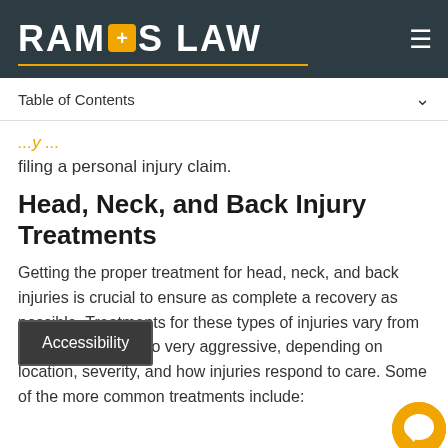RAMOS LAW
Table of Contents
filing a personal injury claim.
Head, Neck, and Back Injury Treatments
Getting the proper treatment for head, neck, and back injuries is crucial to ensure as complete a recovery as possible. Treatments for these types of injuries vary from very conservative to very aggressive, depending on location, severity, and how injuries respond to care. Some of the more common treatments include: